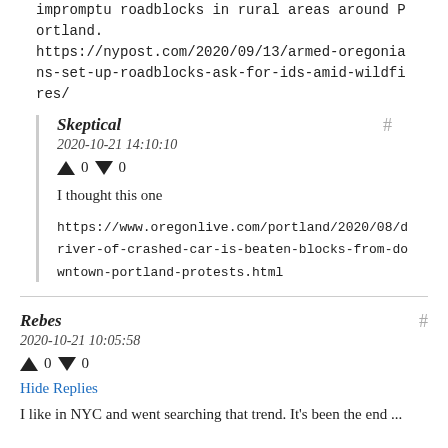impromptu roadblocks in rural areas around Portland. https://nypost.com/2020/09/13/armed-oregonians-set-up-roadblocks-ask-for-ids-amid-wildfires/
Skeptical
2020-10-21 14:10:10
↑ 0 ↓ 0
I thought this one
https://www.oregonlive.com/portland/2020/08/driver-of-crashed-car-is-beaten-blocks-from-downtown-portland-protests.html
Rebes
2020-10-21 10:05:58
↑ 0 ↓ 0
Hide Replies
I like in NYC and went searching that trend. It's been the end ...